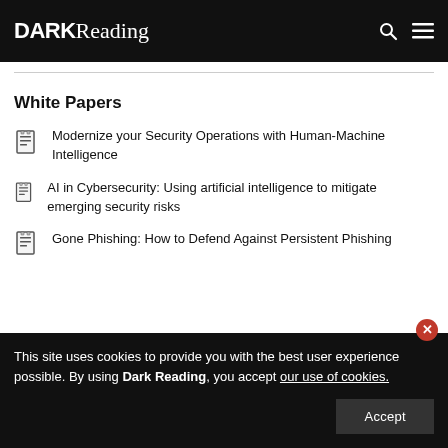DARK Reading
White Papers
Modernize your Security Operations with Human-Machine Intelligence
AI in Cybersecurity: Using artificial intelligence to mitigate emerging security risks
Gone Phishing: How to Defend Against Persistent Phishing
This site uses cookies to provide you with the best user experience possible. By using Dark Reading, you accept our use of cookies.